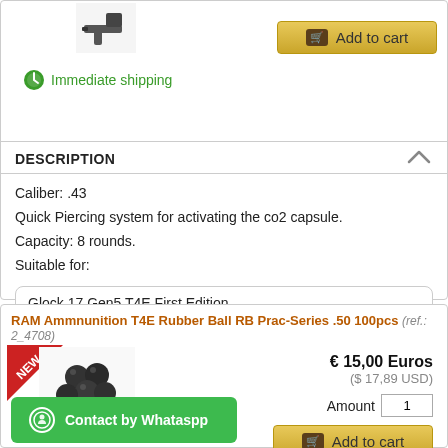[Figure (photo): Product image of a gun/pistol part at top of page]
Immediate shipping
DESCRIPTION
Caliber: .43
Quick Piercing system for activating the co2 capsule.
Capacity: 8 rounds.
Suitable for:
Glock 17 Gen5 T4E First Edition
Glock 17 Gen5 T4E
RAM Ammnunition T4E Rubber Ball RB Prac-Series .50 100pcs (ref.: 2_4708)
[Figure (photo): Image of rubber balls ammunition with NEW badge]
€ 15,00 Euros ($ 17,89 USD)
Contact by Whataspp